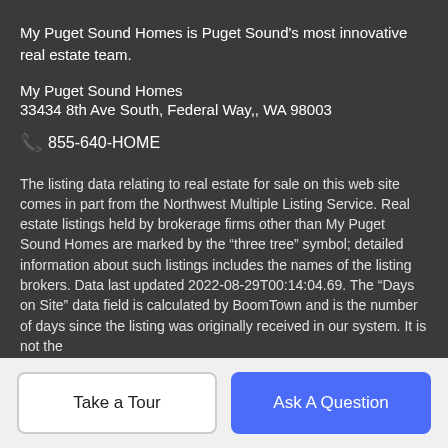My Puget Sound Homes is Puget Sound's most innovative real estate team.
My Puget Sound Homes
33434 8th Ave South, Federal Way,, WA 98003
📞 855-640-HOME
The listing data relating to real estate for sale on this web site comes in part from the Northwest Multiple Listing Service. Real estate listings held by brokerage firms other than My Puget Sound Homes are marked by the "three tree" symbol; detailed information about such listings includes the names of the listing brokers. Data last updated 2022-08-29T00:14:04.69. The "Days on Site" data field is calculated by BoomTown and is the number of days since the listing was originally received in our system. It is not the
Take a Tour
Ask A Question